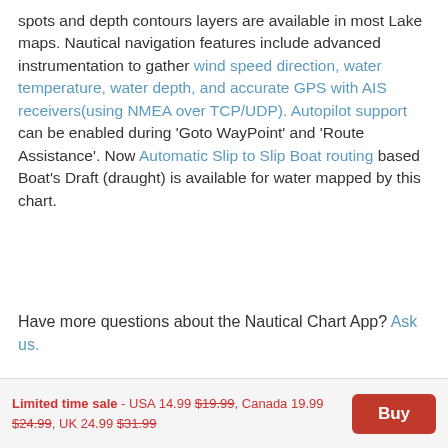spots and depth contours layers are available in most Lake maps. Nautical navigation features include advanced instrumentation to gather wind speed direction, water temperature, water depth, and accurate GPS with AIS receivers(using NMEA over TCP/UDP). Autopilot support can be enabled during 'Goto WayPoint' and 'Route Assistance'. Now Automatic Slip to Slip Boat routing based Boat's Draft (draught) is available for water mapped by this chart.
Have more questions about the Nautical Chart App? Ask us.
Limited time sale - USA 14.99 $19.99, Canada 19.99 $24.99, UK 24.99 $31.99